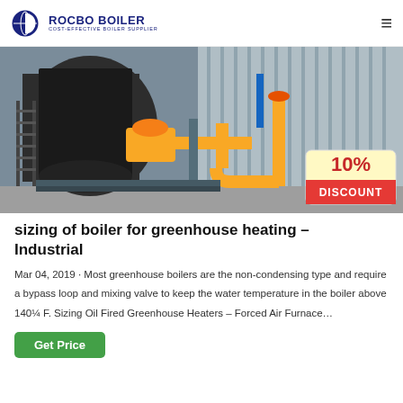ROCBO BOILER — COST-EFFECTIVE BOILER SUPPLIER
[Figure (photo): Industrial boiler equipment photo showing large black cylindrical boiler with yellow piping and corrugated metal wall background; 10% DISCOUNT badge overlay in bottom right]
sizing of boiler for greenhouse heating – Industrial
Mar 04, 2019 · Most greenhouse boilers are the non-condensing type and require a bypass loop and mixing valve to keep the water temperature in the boiler above 140¼ F. Sizing Oil Fired Greenhouse Heaters – Forced Air Furnace…
Get Price